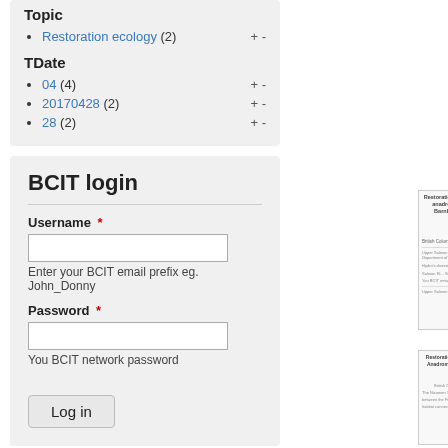Restoration ecology (2) + -
TDate
04 (4) + -
20170428 (2) + -
28 (2) + -
BCIT login
Username *
Enter your BCIT email prefix eg. John_Donny
Password *
You BCIT network password
Log in
Clear Lake techniques macrophytes water quality between C
Restoratio
The Salmon anadromos Hydro's di restricts th Salmon Ri Salmon Ri River salm recovering restoration
[Figure (screenshot): Thumbnail of a document page about restoration of upper Salmon River]
Restoratio
The Nicom between th habitat co
[Figure (screenshot): Thumbnail of a document page about restoration solutions for Nicomen River]